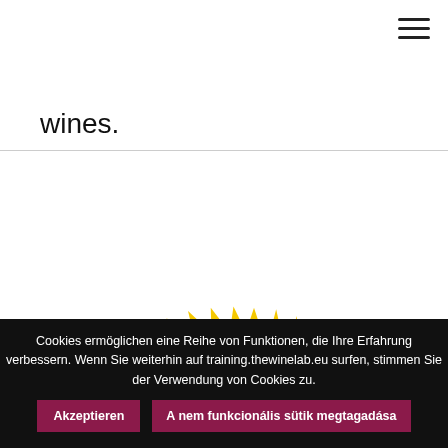wines.
[Figure (logo): EU Traditional Speciality Guaranteed (TSG) badge — circular yellow sunburst border with blue inner circle and yellow stars arranged in a ring, with yellow text reading 'NATIONAL SPECIALITY GUARA' (partially visible) around the blue circle]
Cookies ermöglichen eine Reihe von Funktionen, die Ihre Erfahrung verbessern. Wenn Sie weiterhin auf training.thewinelab.eu surfen, stimmen Sie der Verwendung von Cookies zu.
Akzeptieren
A nem funkcionális sütik megtagadása